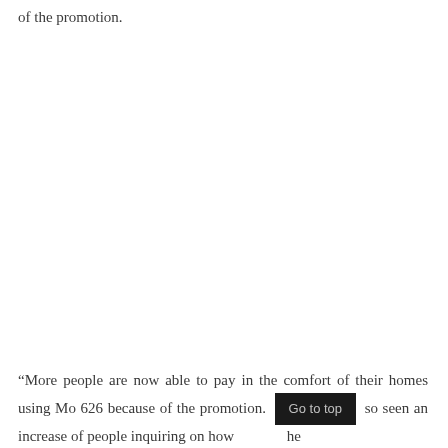of the promotion.
“More people are now able to pay in the comfort of their homes using Mo 626 because of the promotion. [Go to top] so seen an increase of people inquiring on how the